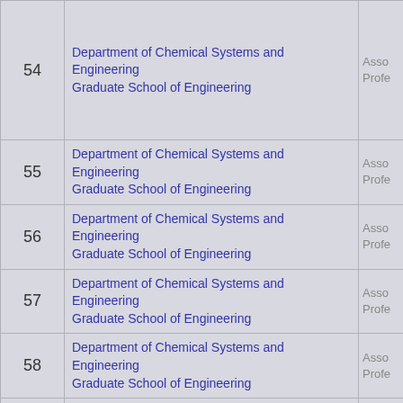| # | Department | Role |
| --- | --- | --- |
| 54 | Department of Chemical Systems and Engineering
Graduate School of Engineering | Asso
Profe |
| 55 | Department of Chemical Systems and Engineering
Graduate School of Engineering | Asso
Profe |
| 56 | Department of Chemical Systems and Engineering
Graduate School of Engineering | Asso
Profe |
| 57 | Department of Chemical Systems and Engineering
Graduate School of Engineering | Asso
Profe |
| 58 | Department of Chemical Systems and Engineering
Graduate School of Engineering | Asso
Profe |
| 59 | Department of Chemical Systems and Engineering
Graduate School of Engineering | Asso
Profe |